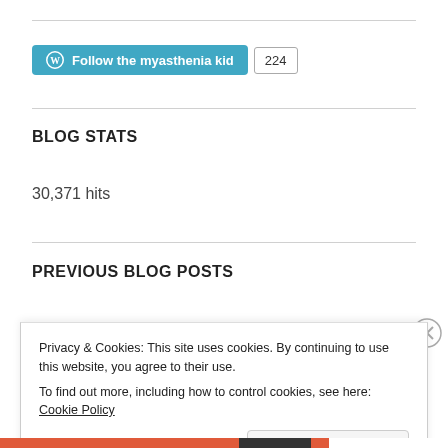[Figure (other): WordPress Follow button with teal background showing 'Follow the myasthenia kid' and a follower count badge showing 224]
BLOG STATS
30,371 hits
PREVIOUS BLOG POSTS
Privacy & Cookies: This site uses cookies. By continuing to use this website, you agree to their use.
To find out more, including how to control cookies, see here: Cookie Policy
Close and accept